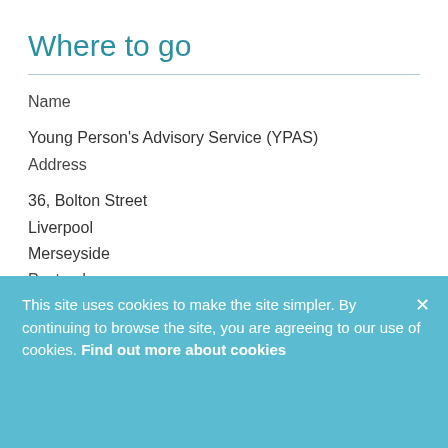Where to go
Name
Young Person's Advisory Service (YPAS)
Address
36, Bolton Street
Liverpool
Merseyside
Postcode
L3 5LX
Notes
This site uses cookies to make the site simpler. By continuing to browse the site, you are agreeing to our use of cookies. Find out more about cookies